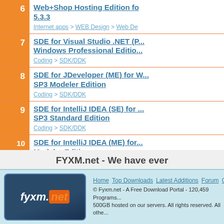6 Web+Shop Hosting Edition fo... 5.3.3 — Internet apps > WEB Design > Web De...
7 SDE for Visual Studio .NET (P... Windows Professional Editio... — Coding > SDK/DDK
8 SDE for JDeveloper (ME) for W... SP3 Modeler Edition — Coding > SDK/DDK
9 SDE for IntelliJ IDEA (SE) for ... SP3 Standard Edition — Coding > SDK/DDK
10 SDE for IntelliJ IDEA (ME) for... Modeler Edition — Coding > Other Coding Files
FYXM.net - We have ever
Home  Top Downloads  Latest Additions  Forum  Conta... © Fyxm.net - A Free Download Portal - 120,459 Programs... 500GB hosted on our servers. All rights reserved. All othe...